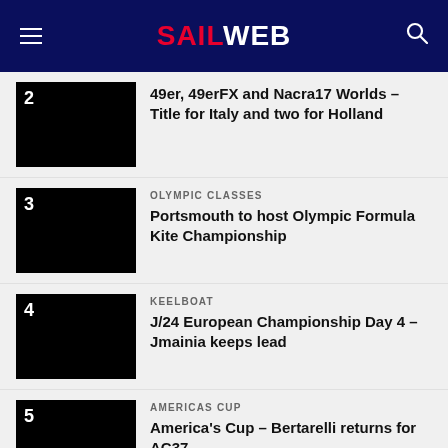SAILWEB
49er, 49erFX and Nacra17 Worlds – Title for Italy and two for Holland
OLYMPIC CLASSES
Portsmouth to host Olympic Formula Kite Championship
KEELBOAT
J/24 European Championship Day 4 – Jmainia keeps lead
AMERICAS CUP
America's Cup – Bertarelli returns for AC37
Search for
1. YOUTH OLYMPIC GAMES SCHEDULE